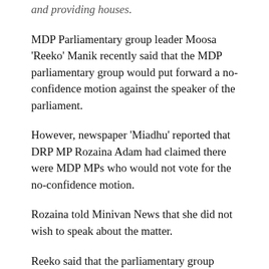and providing houses.
MDP Parliamentary group leader Moosa ‘Reeko’ Manik recently said that the MDP parliamentary group would put forward a no-confidence motion against the speaker of the parliament.
However, newspaper ‘Miadhu’ reported that DRP MP Rozaina Adam had claimed there were MDP MPs who would not vote for the no-confidence motion.
Rozaina told Minivan News that she did not wish to speak about the matter.
Reeko said that the parliamentary group would be deciding the matter after the decentralisation bill.
“We do not want to speak about it yet,” he said.
MDP Secretary General...